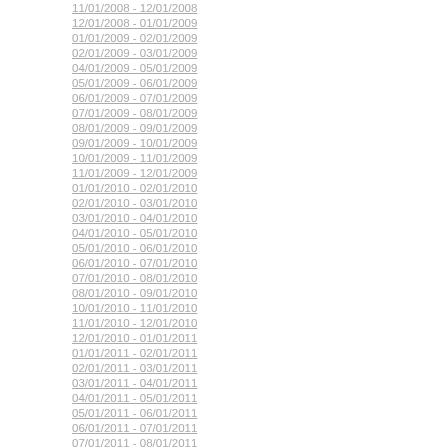11/01/2008 - 12/01/2008
12/01/2008 - 01/01/2009
01/01/2009 - 02/01/2009
02/01/2009 - 03/01/2009
04/01/2009 - 05/01/2009
05/01/2009 - 06/01/2009
06/01/2009 - 07/01/2009
07/01/2009 - 08/01/2009
08/01/2009 - 09/01/2009
09/01/2009 - 10/01/2009
10/01/2009 - 11/01/2009
11/01/2009 - 12/01/2009
01/01/2010 - 02/01/2010
02/01/2010 - 03/01/2010
03/01/2010 - 04/01/2010
04/01/2010 - 05/01/2010
05/01/2010 - 06/01/2010
06/01/2010 - 07/01/2010
07/01/2010 - 08/01/2010
08/01/2010 - 09/01/2010
10/01/2010 - 11/01/2010
11/01/2010 - 12/01/2010
12/01/2010 - 01/01/2011
01/01/2011 - 02/01/2011
02/01/2011 - 03/01/2011
03/01/2011 - 04/01/2011
04/01/2011 - 05/01/2011
05/01/2011 - 06/01/2011
06/01/2011 - 07/01/2011
07/01/2011 - 08/01/2011